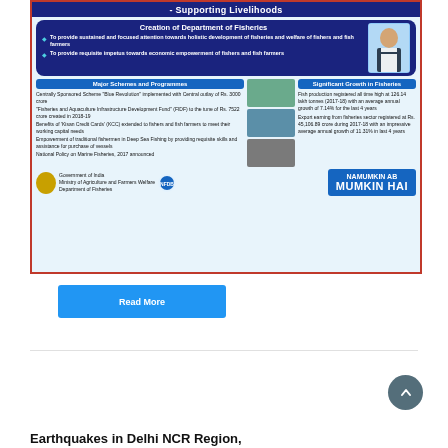[Figure (infographic): Government of India infographic about fisheries department - Supporting Livelihoods. Contains sections on Creation of Department of Fisheries, Major Schemes and Programmes, Significant Growth in Fisheries, and NAMUMKIN AB MUMKIN HAI branding.]
Read More
Earthquakes in Delhi NCR Region,